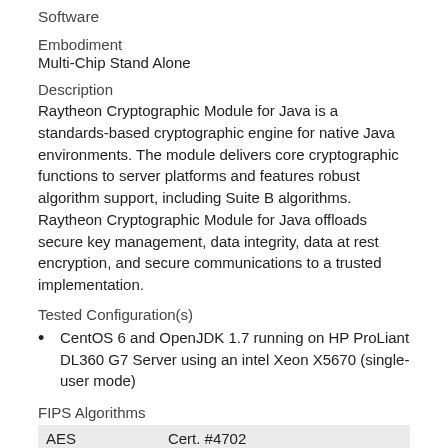Software
Embodiment
Multi-Chip Stand Alone
Description
Raytheon Cryptographic Module for Java is a standards-based cryptographic engine for native Java environments. The module delivers core cryptographic functions to server platforms and features robust algorithm support, including Suite B algorithms. Raytheon Cryptographic Module for Java offloads secure key management, data integrity, data at rest encryption, and secure communications to a trusted implementation.
Tested Configuration(s)
CentOS 6 and OpenJDK 1.7 running on HP ProLiant DL360 G7 Server using an intel Xeon X5670 (single-user mode)
FIPS Algorithms
| AES | Cert. #4702 |
| --- | --- |